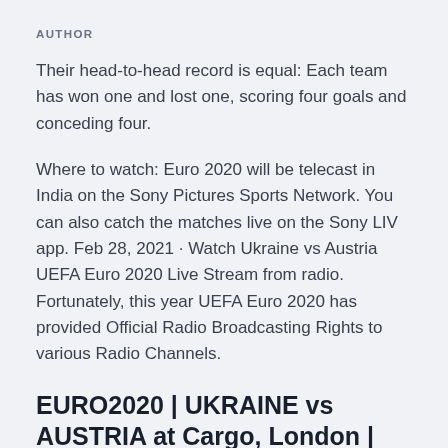AUTHOR
Their head-to-head record is equal: Each team has won one and lost one, scoring four goals and conceding four.
Where to watch: Euro 2020 will be telecast in India on the Sony Pictures Sports Network. You can also catch the matches live on the Sony LIV app. Feb 28, 2021 · Watch Ukraine vs Austria UEFA Euro 2020 Live Stream from radio. Fortunately, this year UEFA Euro 2020 has provided Official Radio Broadcasting Rights to various Radio Channels.
EURO2020 | UKRAINE vs AUSTRIA at Cargo, London | Mon 21st June